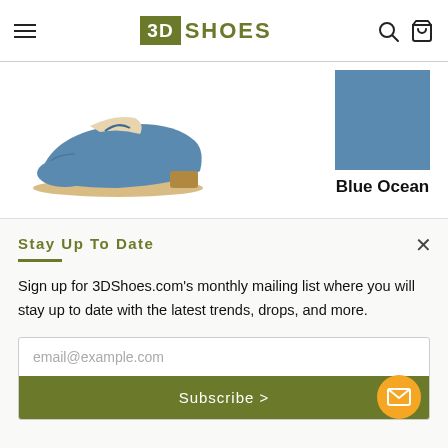3D SHOES
[Figure (photo): Blue leather loafer/slipper shoe on white background]
[Figure (other): Blue Ocean color swatch square with label 'Blue Ocean']
Stay Up To Date
Sign up for 3DShoes.com's monthly mailing list where you will stay up to date with the latest trends, drops, and more.
email@example.com
Subscribe >